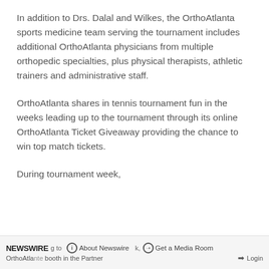In addition to Drs. Dalal and Wilkes, the OrthoAtlanta sports medicine team serving the tournament includes additional OrthoAtlanta physicians from multiple orthopedic specialties, plus physical therapists, athletic trainers and administrative staff.
OrthoAtlanta shares in tennis tournament fun in the weeks leading up to the tournament through its online OrthoAtlanta Ticket Giveaway providing the chance to win top match tickets.
NEWSWIRE About Newswire Get a Media Room During tournament week, OrthoAtlanta booth in the Partner Login